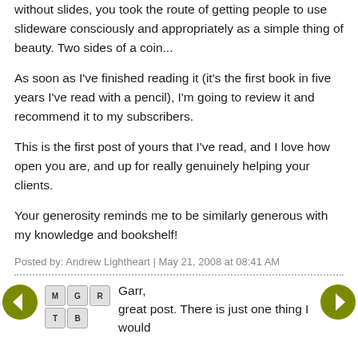without slides, you took the route of getting people to use slideware consciously and appropriately as a simple thing of beauty. Two sides of a coin...
As soon as I've finished reading it (it's the first book in five years I've read with a pencil), I'm going to review it and recommend it to my subscribers.
This is the first post of yours that I've read, and I love how open you are, and up for really genuinely helping your clients.
Your generosity reminds me to be similarly generous with my knowledge and bookshelf!
Posted by: Andrew Lightheart | May 21, 2008 at 08:41 AM
Garr,
great post. There is just one thing I would